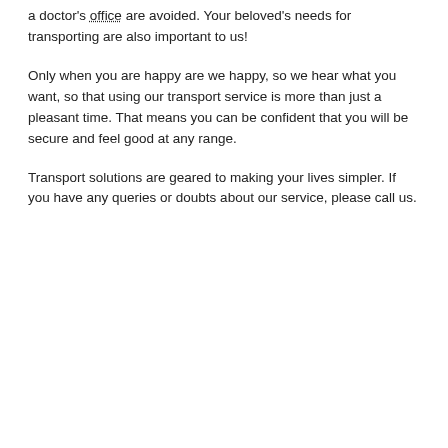a doctor's office are avoided. Your beloved's needs for transporting are also important to us!
Only when you are happy are we happy, so we hear what you want, so that using our transport service is more than just a pleasant time. That means you can be confident that you will be secure and feel good at any range.
Transport solutions are geared to making your lives simpler. If you have any queries or doubts about our service, please call us.